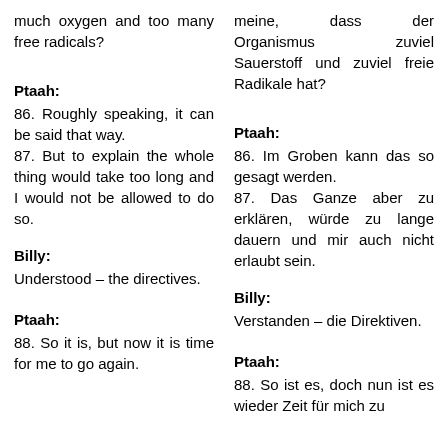much oxygen and too many free radicals?
meine, dass der Organismus zuviel Sauerstoff und zuviel freie Radikale hat?
Ptaah:
Ptaah:
86. Roughly speaking, it can be said that way.
87. But to explain the whole thing would take too long and I would not be allowed to do so.
86. Im Groben kann das so gesagt werden.
87. Das Ganze aber zu erklären, würde zu lange dauern und mir auch nicht erlaubt sein.
Billy:
Billy:
Understood – the directives.
Verstanden – die Direktiven.
Ptaah:
Ptaah:
88. So it is, but now it is time for me to go again.
88. So ist es, doch nun ist es wieder Zeit für mich zu